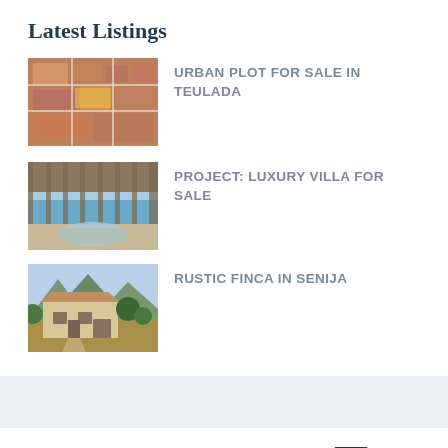Latest Listings
[Figure (photo): Aerial view of urban plot in Teulada showing street grid and rooftops]
URBAN PLOT FOR SALE IN TEULADA
[Figure (photo): Luxury villa terrace with sea view in background]
PROJECT: LUXURY VILLA FOR SALE
[Figure (photo): Rustic finca surrounded by trees and mountains in Senija]
RUSTIC FINCA IN SENIJA
Featured Properties